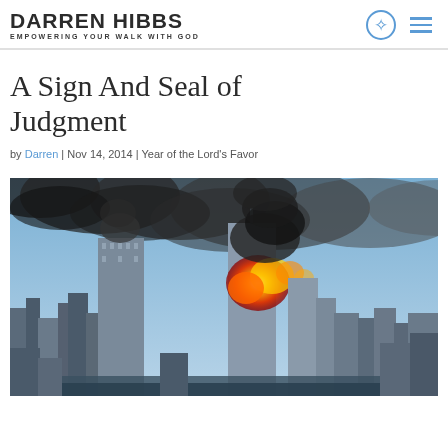DARREN HIBBS | EMPOWERING YOUR WALK WITH GOD
A Sign And Seal of Judgment
by Darren | Nov 14, 2014 | Year of the Lord's Favor
[Figure (photo): Photograph of the September 11, 2001 attacks showing the Twin Towers engulfed in smoke and fire with the New York City skyline in the background]